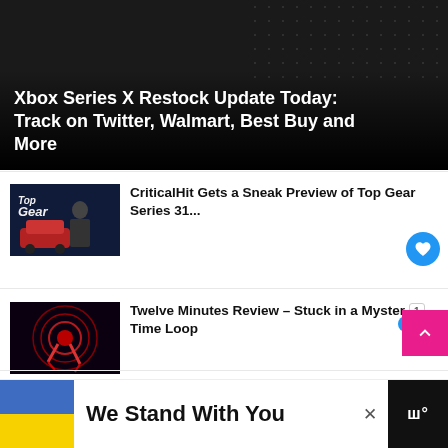[Figure (photo): Xbox Series X console hero image with dark background and dot pattern]
Xbox Series X Restock Update Today: Track on Twitter, Walmart, Best Buy and More
[Figure (photo): Top Gear promotional image with presenter and red car on dark stage]
CriticalHit Gets a Sneak Preview of Top Gear Series 31...
[Figure (photo): Twelve Minutes game artwork with red abstract figure on dark background]
Twelve Minutes Review – Stuck in a Mystery Time Loop
[Figure (photo): Cris Tales colorful anime-style game artwork]
Cris Tales Reviews – Present, Past, and Future Collide
We Stand With You